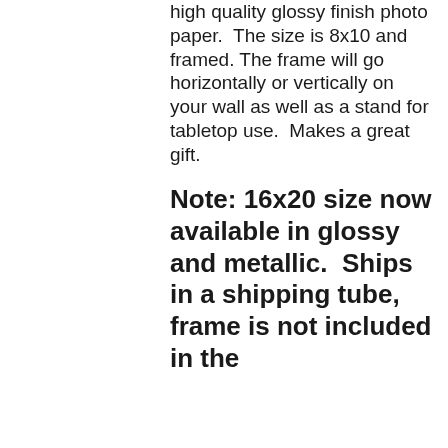high quality glossy finish photo paper.  The size is 8x10 and framed. The frame will go horizontally or vertically on your wall as well as a stand for tabletop use.  Makes a great gift.
Note: 16x20 size now available in glossy and metallic.  Ships in a shipping tube, frame is not included in the